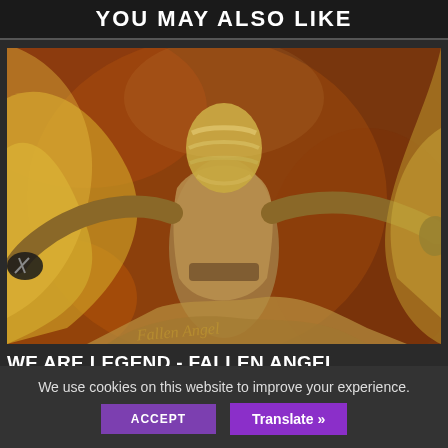YOU MAY ALSO LIKE
[Figure (photo): A figure wrapped in flowing golden/yellow fabric with arms outstretched against a dark rusty orange background. The person's head and face are wrapped in bandages. They hold what appears to be scissors. Artistic editorial photo.]
WE ARE LEGEND - FALLEN ANGEL
AUGUST 21, 2022
We use cookies on this website to improve your experience.
ACCEPT
Translate »